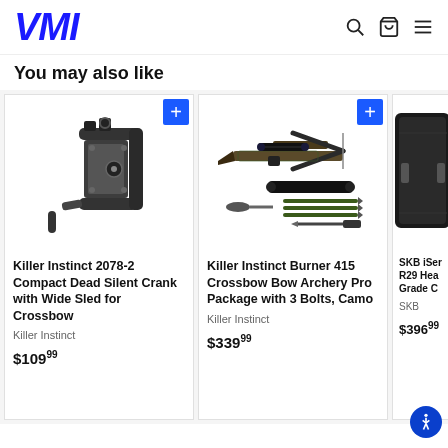VMI
You may also like
[Figure (photo): Killer Instinct 2078-2 Compact Dead Silent Crank with Wide Sled for Crossbow - product image of a black crossbow crank device]
Killer Instinct 2078-2 Compact Dead Silent Crank with Wide Sled for Crossbow
Killer Instinct
$109.99
[Figure (photo): Killer Instinct Burner 415 Crossbow Bow Archery Pro Package with 3 Bolts, Camo - product image showing crossbow and accessories]
Killer Instinct Burner 415 Crossbow Bow Archery Pro Package with 3 Bolts, Camo
Killer Instinct
$339.99
[Figure (photo): SKB iSer R29 Hea Grade C - partially visible product, appears to be a hard case]
SKB iSer R29 Hea Grade C
SKB
$396.99